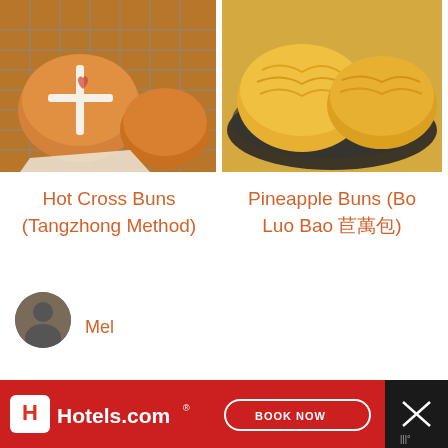[Figure (photo): Photo of Hot Cross Buns on a cooling rack]
[Figure (photo): Photo of Pineapple Buns (Bo Luo Bao) on a dark plate]
Hot Cross Buns (Tangzhong Method)
Pineapple Buns (Bo Luo Bao 菠萝包)
85 comments :
[Figure (photo): What's Next thumbnail: Nutella Buns (Tangzhong...)]
WHAT'S NEXT → Nutella Buns (Tangzhong...
Mel
[Figure (photo): Hotels.com advertisement banner with Book Now button]